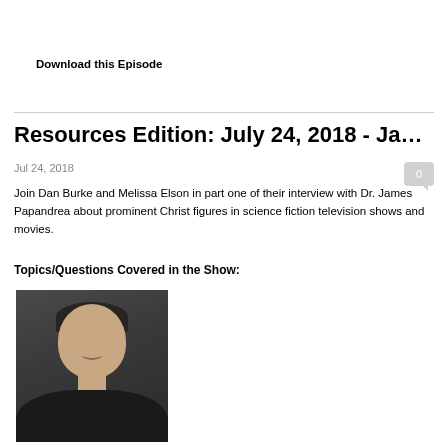Download this Episode
Resources Edition: July 24, 2018 - James P...
Jul 24, 2018
0
Join Dan Burke and Melissa Elson in part one of their interview with Dr. James Papandrea about prominent Christ figures in science fiction television shows and movies.
Topics/Questions Covered in the Show:
[Figure (photo): Headshot photo of Dr. James Papandrea, a middle-aged man with dark hair, smiling, wearing a dark shirt/jacket against a dark grey background.]